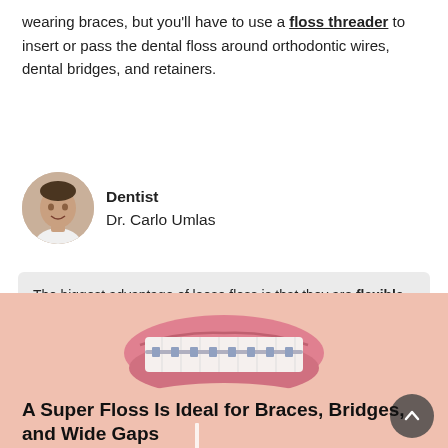wearing braces, but you'll have to use a floss threader to insert or pass the dental floss around orthodontic wires, dental bridges, and retainers.
[Figure (photo): Circular headshot of Dr. Carlo Umlas, a male dentist wearing a white coat]
Dentist
Dr. Carlo Umlas
The biggest advantage of loose floss is that they are flexible and can be curved into the recommended C shape to fully clean around the tooth and gum line. It's also easy to get into tight spaces between teeth, whether you go for waxed or unwaxed types.
A Super Floss Is Ideal for Braces, Bridges, and Wide Gaps
[Figure (photo): Close-up photo of a young person smiling showing teeth with braces]